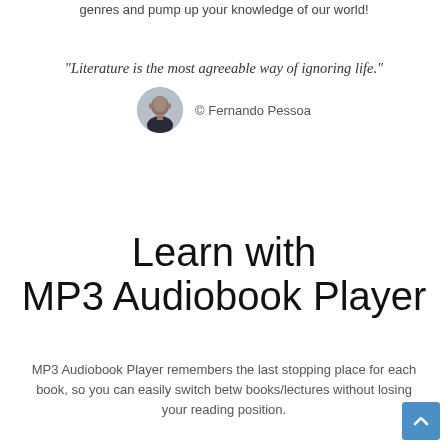genres and pump up your knowledge of our world!
"Literature is the most agreeable way of ignoring life."
[Figure (photo): Circular avatar photo of Fernando Pessoa, a man in dark clothing]
© Fernando Pessoa
Learn with MP3 Audiobook Player
MP3 Audiobook Player remembers the last stopping place for each book, so you can easily switch between books/lectures without losing your reading position.